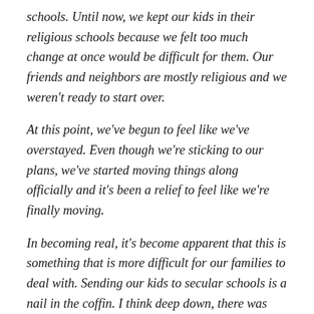schools. Until now, we kept our kids in their religious schools because we felt too much change at once would be difficult for them. Our friends and neighbors are mostly religious and we weren’t ready to start over.
At this point, we’ve begun to feel like we’ve overstayed. Even though we’re sticking to our plans, we’ve started moving things along officially and it’s been a relief to feel like we’re finally moving.
In becoming real, it’s become apparent that this is something that is more difficult for our families to deal with. Sending our kids to secular schools is a nail in the coffin. I think deep down, there was hope that loving us no matter what would lead us back to their beliefs. While I understand the sentiment, it was painful to